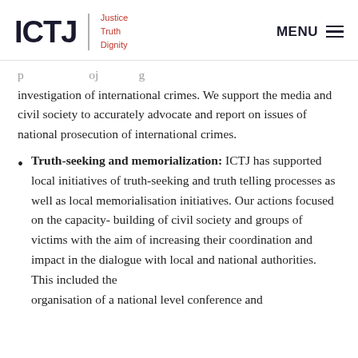ICTJ | Justice Truth Dignity | MENU
...prosecution or other processes for the investigation of international crimes. We support the media and civil society to accurately advocate and report on issues of national prosecution of international crimes.
Truth-seeking and memorialization: ICTJ has supported local initiatives of truth-seeking and truth telling processes as well as local memorialisation initiatives. Our actions focused on the capacity- building of civil society and groups of victims with the aim of increasing their coordination and impact in the dialogue with local and national authorities. This included the organisation of a national level conference and